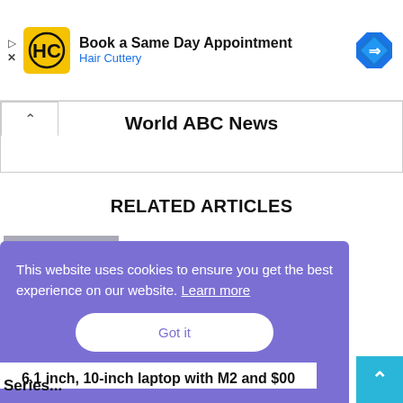[Figure (infographic): Hair Cuttery advertisement banner with logo, text 'Book a Same Day Appointment / Hair Cuttery', and a blue navigation arrow icon. Small play and X controls on the left.]
World ABC News
RELATED ARTICLES
[Figure (photo): Partially visible thumbnail image for a Microsoft-related article]
Microsoft TikTok parent...
This website uses cookies to ensure you get the best experience on our website. Learn more
Got it
...6.1 inch, 10-inch laptop with M2 and $900 Series...